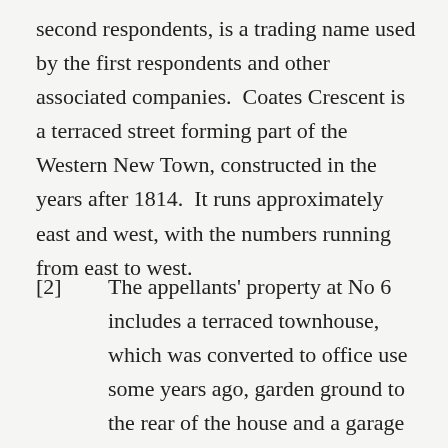second respondents, is a trading name used by the first respondents and other associated companies.  Coates Crescent is a terraced street forming part of the Western New Town, constructed in the years after 1814.  It runs approximately east and west, with the numbers running from east to west.
[2]       The appellants' property at No 6 includes a terraced townhouse, which was converted to office use some years ago, garden ground to the rear of the house and a garage at the rear of the garden ground;  the garage opens on to William Street South East Lane.  William Street South East Lane runs along the back of the properties in Coates Crescent, and several of the houses have